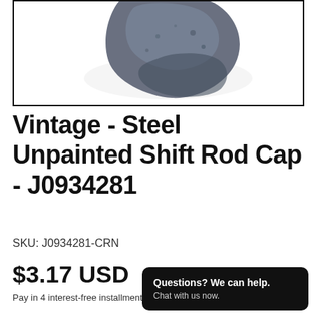[Figure (photo): Product image of a vintage steel unpainted shift rod cap, showing a dark gray/blue metallic cap piece against white background, partially cropped at top]
Vintage - Steel Unpainted Shift Rod Cap - J0934281
SKU: J0934281-CRN
$3.17 USD   Sold out
Pay in 4 interest-free installments for  shop Pay  Learn more
Questions? We can help. Chat with us now.